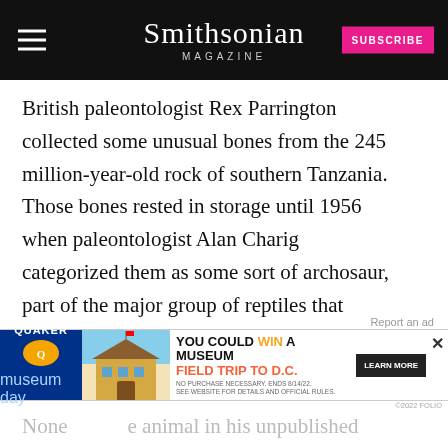Smithsonian MAGAZINE
British paleontologist Rex Parrington collected some unusual bones from the 245 million-year-old rock of southern Tanzania. Those bones rested in storage until 1956 when paleontologist Alan Charig categorized them as some sort of archosaur, part of the major group of reptiles that includes dinosaurs and other lineages—but it was difficult to say where exactly the species fell.
[Figure (screenshot): Advertisement banner: Quaker Museum Day promotion — YOU COULD WIN A MUSEUM FIELD TRIP TO D.C. with Learn More button]
None... animal in his unpublished research. Teleocrater,